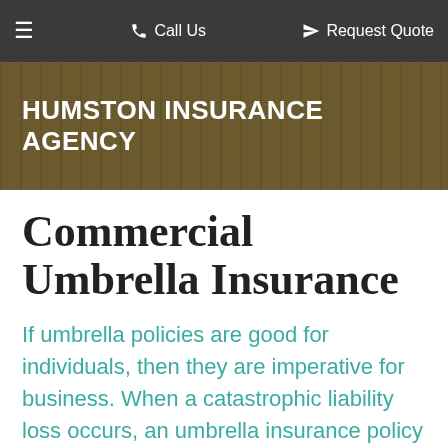≡  Call Us  ✈ Request Quote
HUMSTON INSURANCE AGENCY
Commercial Umbrella Insurance
If umbrella policies are good for individuals, then they are imperative for business. When a catastrophic liability loss occurs, an umbrella insurance policy can mean the difference between a business